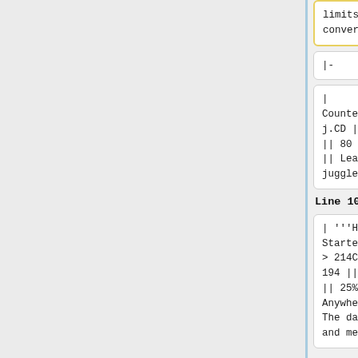limits your conversions.
3, which limits your conversions.
|-
|-
| Counterhit j.CD || 100 || 80 || 8% || Leads to juggles.
| Counterhit j.CD || 100 || 80 || 8% || Leads to juggles.
Line 106:
Line 106:
| '''Heavy Starter''' > 214C || 194 || 180 || 25% || Anywhere || The damage and meter
| '''Heavy Starter''' > 214C || 194 || 180 || 25% || Anywhere || The damage and meter